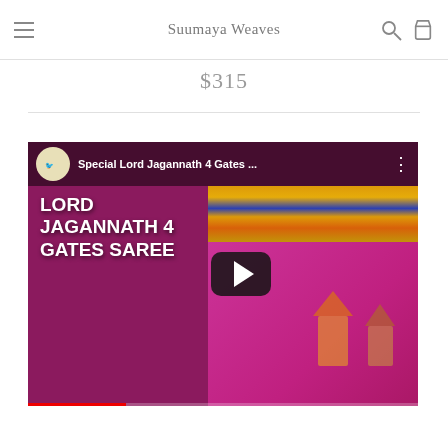Suumaya Weaves
$315
[Figure (screenshot): YouTube video thumbnail showing 'Special Lord Jagannath 4 Gates ...' with LORD JAGANNATH 4 GATES SAREE text overlay on a magenta/pink saree fabric background, with a play button in the center]